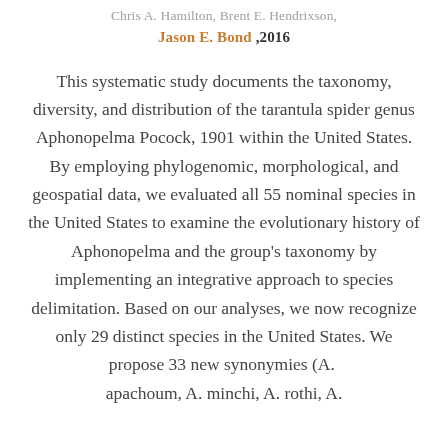Chris A. Hamilton, Brent E. Hendrixson, Jason E. Bond ,2016
This systematic study documents the taxonomy, diversity, and distribution of the tarantula spider genus Aphonopelma Pocock, 1901 within the United States. By employing phylogenomic, morphological, and geospatial data, we evaluated all 55 nominal species in the United States to examine the evolutionary history of Aphonopelma and the group's taxonomy by implementing an integrative approach to species delimitation. Based on our analyses, we now recognize only 29 distinct species in the United States. We propose 33 new synonymies (A. apachoum, A. minchi, A. rothi, A.